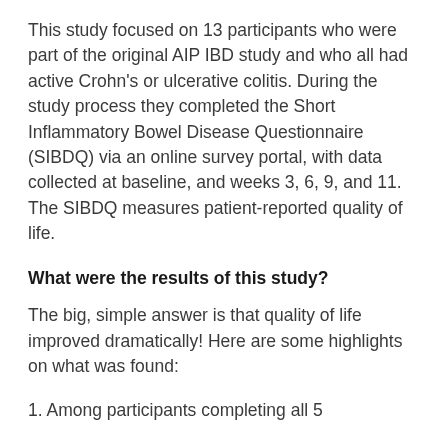This study focused on 13 participants who were part of the original AIP IBD study and who all had active Crohn's or ulcerative colitis. During the study process they completed the Short Inflammatory Bowel Disease Questionnaire (SIBDQ) via an online survey portal, with data collected at baseline, and weeks 3, 6, 9, and 11. The SIBDQ measures patient-reported quality of life.
What were the results of this study?
The big, simple answer is that quality of life improved dramatically! Here are some highlights on what was found:
1. Among participants completing all 5